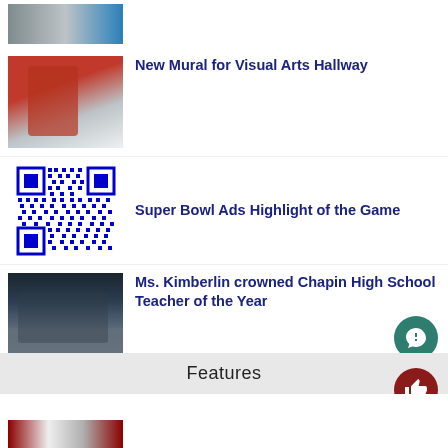[Figure (photo): Partial top image of people at a sports event]
[Figure (photo): Student in red shirt painting a mural on a wall]
New Mural for Visual Arts Hallway
[Figure (other): Blue QR code on white background]
Super Bowl Ads Highlight of the Game
[Figure (photo): Group photo of students on escalator stairs indoors, Ms. Kimberlin with students]
Ms. Kimberlin crowned Chapin High School Teacher of the Year
Features
[Figure (photo): Partial bottom strip image with red and patterned elements]